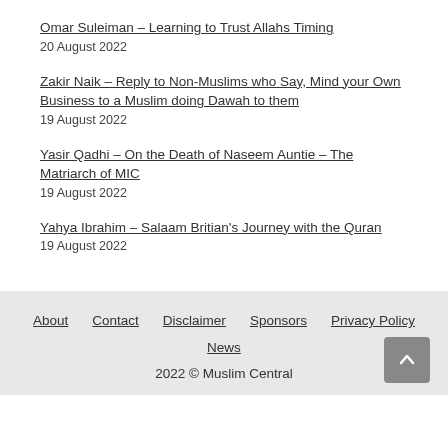Omar Suleiman – Learning to Trust Allahs Timing
20 August 2022
Zakir Naik – Reply to Non-Muslims who Say, Mind your Own Business to a Muslim doing Dawah to them
19 August 2022
Yasir Qadhi – On the Death of Naseem Auntie – The Matriarch of MIC
19 August 2022
Yahya Ibrahim – Salaam Britian's Journey with the Quran
19 August 2022
About   Contact   Disclaimer   Sponsors   Privacy Policy
News
2022 © Muslim Central